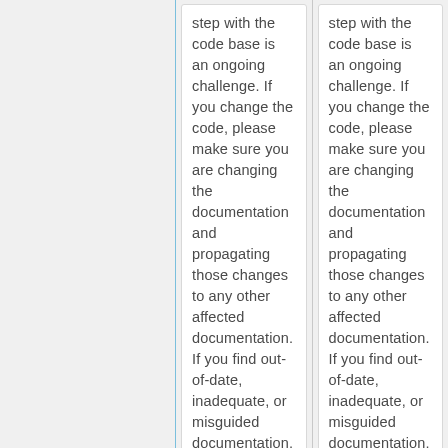step with the code base is an ongoing challenge. If you change the code, please make sure you are changing the documentation and propagating those changes to any other affected documentation. If you find out-of-date, inadequate, or misguided documentation, fix it!
step with the code base is an ongoing challenge. If you change the code, please make sure you are changing the documentation and propagating those changes to any other affected documentation. If you find out-of-date, inadequate, or misguided documentation, fix it!
This is doubly
This is doubly